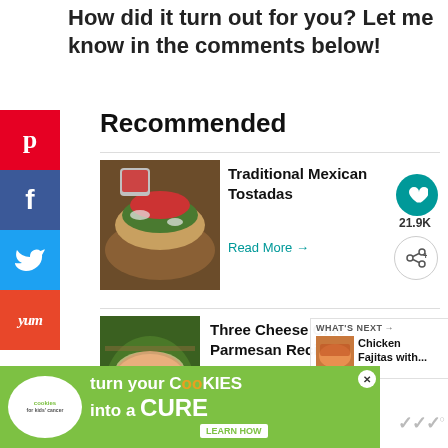How did it turn out for you? Let me know in the comments below!
Recommended
[Figure (photo): Photo of Traditional Mexican Tostadas]
Traditional Mexican Tostadas
Read More →
[Figure (photo): Photo of Three Cheese Chicken Parmesan Recipe]
Three Cheese Chicken Parmesan Recipe
WHAT'S NEXT → Chicken Fajitas with...
[Figure (photo): Advertisement: cookies for kids cancer - turn your COOKIES into a CURE LEARN HOW]